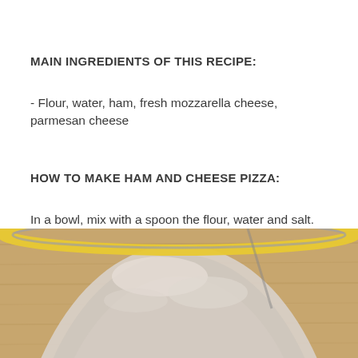MAIN INGREDIENTS OF THIS RECIPE:
- Flour, water, ham, fresh mozzarella cheese, parmesan cheese
HOW TO MAKE HAM AND CHEESE PIZZA:
In a bowl, mix with a spoon the flour, water and salt.
[Figure (photo): Top-down view of a glass bowl with flour mixture on a wooden surface, with a yellow rim visible around the bowl]